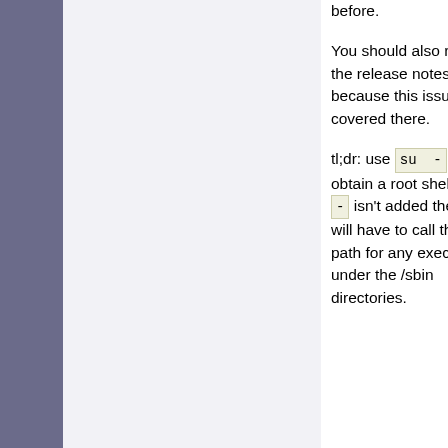before.
You should also read the release notes because this issue is covered there.
tl;dr: use su - to obtain a root shell. If the - isn't added then you will have to call the full path for any executables under the /sbin directories.